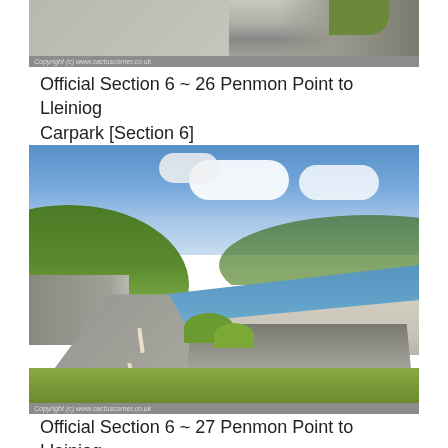[Figure (photo): Partial view of a coastal path with rock wall and road, copyright cactuscorner.co.uk]
Official Section 6 ~ 26 Penmon Point to Lleiniog Carpark [Section 6]
[Figure (photo): Coastal road with stone wall on right, pebble beach and sea beyond, green hills on left, blue sky with clouds. Copyright cactuscorner.co.uk]
Official Section 6 ~ 27 Penmon Point to Lleiniog